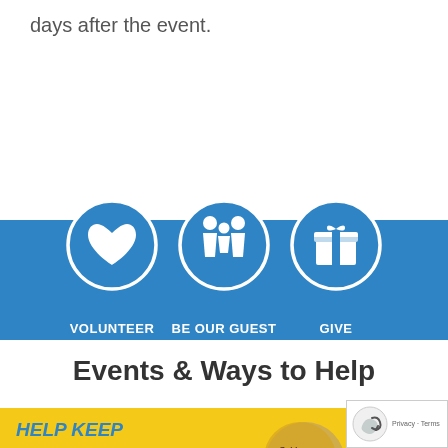days after the event.
[Figure (infographic): Three circular icons on a blue banner: VOLUNTEER (heart icon), BE OUR GUEST (family icon), GIVE (gift box icon)]
Events & Ways to Help
[Figure (infographic): Yellow banner with 'HELP KEEP FAMILIES' text in blue italic, cookies (Golden Oreo and Nutter Butter) visible]
[Figure (other): reCAPTCHA widget overlay with 'Privacy - Terms' text]